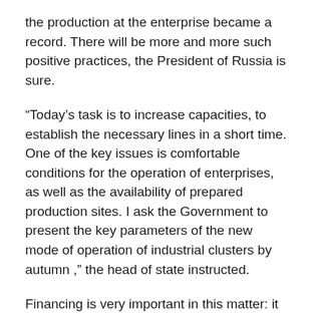the production at the enterprise became a record. There will be more and more such positive practices, the President of Russia is sure.
“Today’s task is to increase capacities, to establish the necessary lines in a short time. One of the key issues is comfortable conditions for the operation of enterprises, as well as the availability of prepared production sites. I ask the Government to present the key parameters of the new mode of operation of industrial clusters by autumn ,” the head of state instructed.
Financing is very important in this matter: it is necessary to provide long-term lending for up to 10 years and at a rate of no more than 7% per annum. Also, in clusters, it is necessary to ensure a low level of permanent taxes and insurance premiums . It is necessary to support production